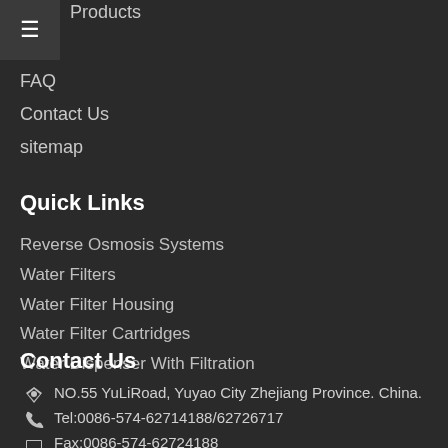Products
FAQ
Contact Us
sitemap
Quick Links
Reverse Osmosis Systems
Water Filters
Water Filter Housing
Water Filter Cartridges
Water Dispenser With Filtration
Contact Us
NO.55 YuLiRoad, Yuyao City Zhejiang Province. China.
Tel:0086-574-62714188/62726717
Fax:0086-574-62724188
Email:koko@kokoelectric.com